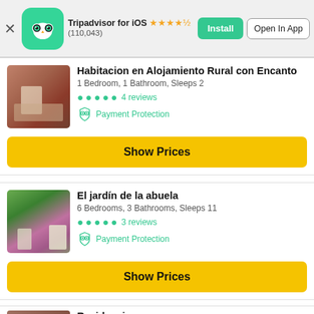[Figure (screenshot): Tripadvisor app banner with owl logo, star rating 4.5 stars (110,043 reviews), Install and Open In App buttons]
Habitacion en Alojamiento Rural con Encanto
1 Bedroom, 1 Bathroom, Sleeps 2
4 reviews
Payment Protection
Show Prices
El jardín de la abuela
6 Bedrooms, 3 Bathrooms, Sleeps 11
3 reviews
Payment Protection
Show Prices
Residencia...